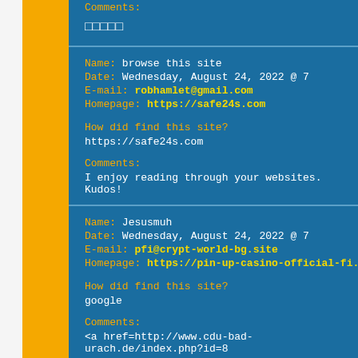Comments:
□□□□□
Name: browse this site
Date: Wednesday, August 24, 2022 @ 7
E-mail: robhamlet@gmail.com
Homepage: https://safe24s.com
How did find this site?
https://safe24s.com
Comments:
I enjoy reading through your websites. Kudos!
Name: Jesusmuh
Date: Wednesday, August 24, 2022 @ 7
E-mail: pfi@crypt-world-bg.site
Homepage: https://pin-up-casino-official-fi.site
How did find this site?
google
Comments:
<a href=http://www.cdu-bad-urach.de/index.php?id=8
<a href=https://knpmconnection.com/Home/Priva-